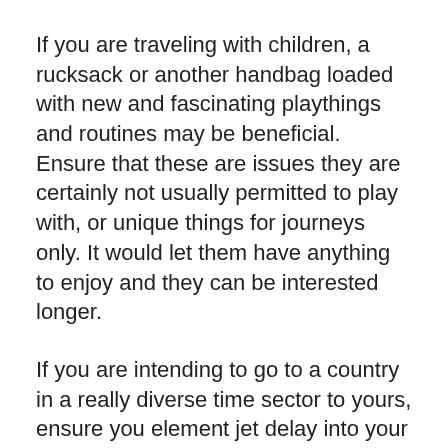If you are traveling with children, a rucksack or another handbag loaded with new and fascinating playthings and routines may be beneficial. Ensure that these are issues they are certainly not usually permitted to play with, or unique things for journeys only. It would let them have anything to enjoy and they can be interested longer.
If you are intending to go to a country in a really diverse time sector to yours, ensure you element jet delay into your strategies. Possessing a lower important, calming initially working day prepared is certain to get your journey off and away to an excellent start, and prevent you being forced to explore when all you should do is sleeping.
Making a spending budget for a variety of expenses prior to touring may help one not overspend while on holiday. Using a budget already presented can keep one more